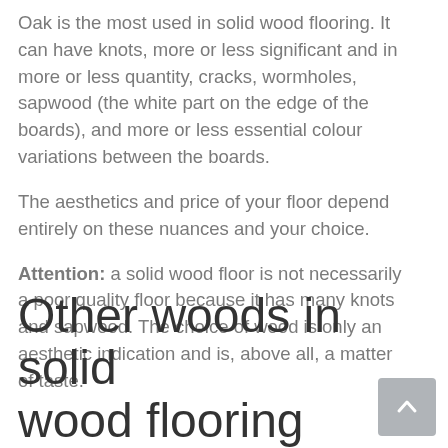Oak is the most used in solid wood flooring. It can have knots, more or less significant and in more or less quantity, cracks, wormholes, sapwood (the white part on the edge of the boards), and more or less essential colour variations between the boards.
The aesthetics and price of your floor depend entirely on these nuances and your choice.
Attention: a solid wood floor is not necessarily a poor quality floor because it has many knots and sapwood. The choice of wood is only an aesthetic indication and is, above all, a matter of taste.
Other woods in solid wood flooring